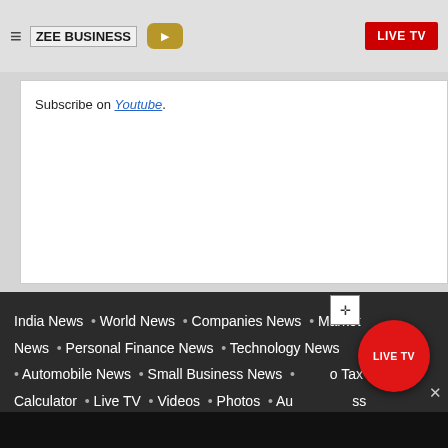ZEE BUSINESS | LIVE TV
Subscribe on Youtube.
India News • World News • Companies News • Market News • Personal Finance News • Technology News • Automobile News • Small Business News • Income Tax Calculator • Live TV • Videos • Photos • Auto News Feed • Advertise with us • Privacy Policy • Legal Disclaimer